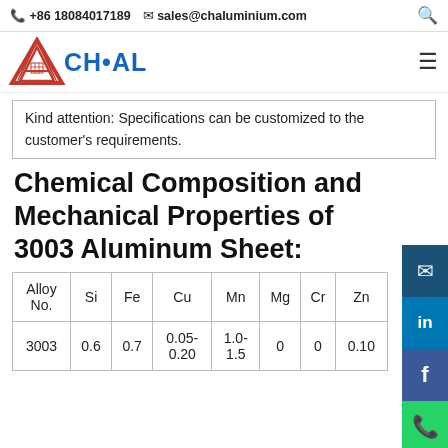+86 18084017189  sales@chaluminium.com
[Figure (logo): ACHAL aluminium company logo with red triangle A and blue CH·AL text]
Kind attention: Specifications can be customized to the customer's requirements.
Chemical Composition and Mechanical Properties of 3003 Aluminum Sheet:
| Alloy No. | Si | Fe | Cu | Mn | Mg | Cr | Zn |
| --- | --- | --- | --- | --- | --- | --- | --- |
| 3003 | 0.6 | 0.7 | 0.05-0.20 | 1.0-1.5 | 0 | 0 | 0.10 |